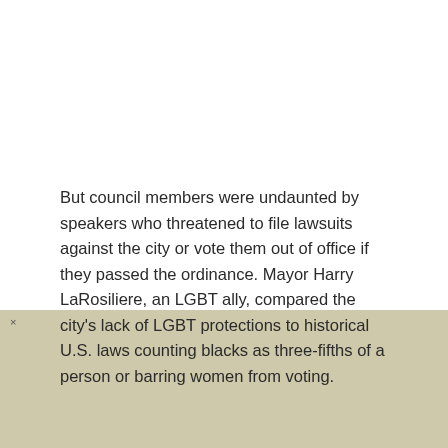But council members were undaunted by speakers who threatened to file lawsuits against the city or vote them out of office if they passed the ordinance. Mayor Harry LaRosiliere, an LGBT ally, compared the city's lack of LGBT protections to historical U.S. laws counting blacks as three-fifths of a person or barring women from voting.